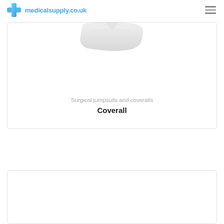medicalsupply.co.uk
[Figure (photo): White coverall/surgical jumpsuit garment photographed on white background, showing torso area with light grey fabric]
Surgical jumpsuits and coveralls
Coverall
[Figure (photo): Second product card, partially visible, white background]